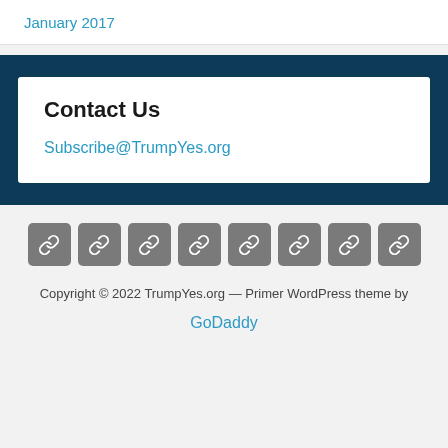January 2017
Contact Us
Subscribe@TrumpYes.org
Copyright © 2022 TrumpYes.org — Primer WordPress theme by GoDaddy